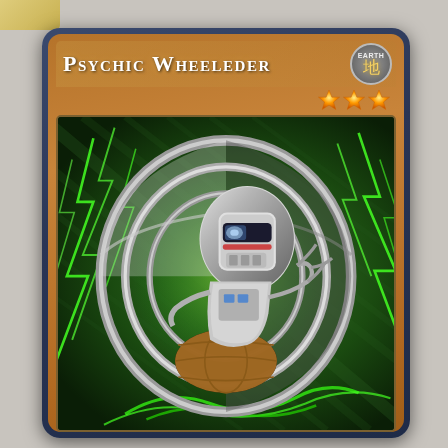[Figure (illustration): Yu-Gi-Oh! trading card: 'Psychic Wheeleder', an EARTH attribute monster card with 3 stars. The card art shows a robotic/mechanical creature with a large circular wheel structure and lightning/electric energy in green hues surrounding it. The card has the standard Yu-Gi-Oh brown/orange frame with dark blue border.]